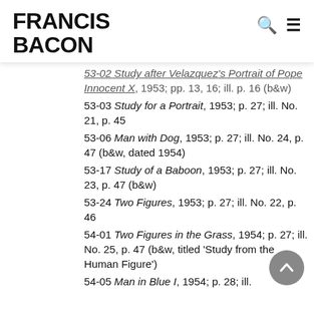FRANCIS BACON
53-02 Study after Velazquez's Portrait of Pope Innocent X, 1953; pp. 13, 16; ill. p. 16 (b&w)
53-03 Study for a Portrait, 1953; p. 27; ill. No. 21, p. 45
53-06 Man with Dog, 1953; p. 27; ill. No. 24, p. 47 (b&w, dated 1954)
53-17 Study of a Baboon, 1953; p. 27; ill. No. 23, p. 47 (b&w)
53-24 Two Figures, 1953; p. 27; ill. No. 22, p. 46
54-01 Two Figures in the Grass, 1954; p. 27; ill. No. 25, p. 47 (b&w, titled 'Study from the Human Figure')
54-05 Man in Blue I, 1954; p. 28; ill.